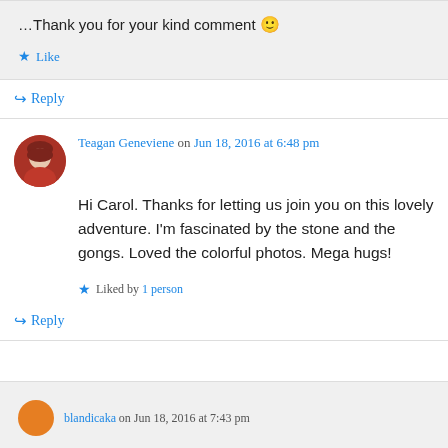…Thank you for your kind comment 🙂
★ Like
↪ Reply
Teagan Geneviene on Jun 18, 2016 at 6:48 pm
Hi Carol. Thanks for letting us join you on this lovely adventure. I'm fascinated by the stone and the gongs. Loved the colorful photos. Mega hugs!
★ Liked by 1 person
↪ Reply
blandicaka on Jun 18, 2016 at 7:43 pm